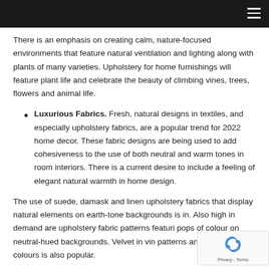There is an emphasis on creating calm, nature-focused environments that feature natural ventilation and lighting along with plants of many varieties. Upholstery for home furnishings will feature plant life and celebrate the beauty of climbing vines, trees, flowers and animal life.
Luxurious Fabrics. Fresh, natural designs in textiles, and especially upholstery fabrics, are a popular trend for 2022 home decor. These fabric designs are being used to add cohesiveness to the use of both neutral and warm tones in room interiors. There is a current desire to include a feeling of elegant natural warmth in home design.
The use of suede, damask and linen upholstery fabrics that display natural elements on earth-tone backgrounds is in. Also high in demand are upholstery fabric patterns featuring pops of colour on neutral-hued backgrounds. Velvet in vintage patterns and natural colours is also popular.